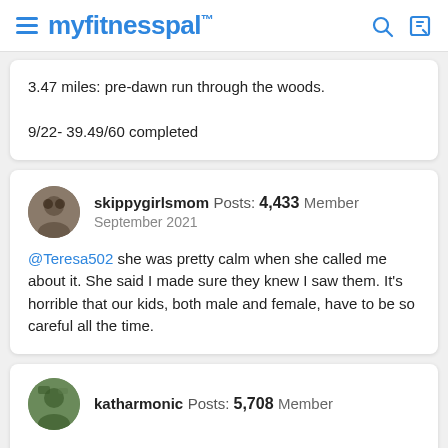myfitnesspal
3.47 miles: pre-dawn run through the woods.

9/22- 39.49/60 completed
skippygirlsmom Posts: 4,433 Member
September 2021

@Teresa502 she was pretty calm when she called me about it. She said I made sure they knew I saw them. It's horrible that our kids, both male and female, have to be so careful all the time.
katharmonic Posts: 5,708 Member